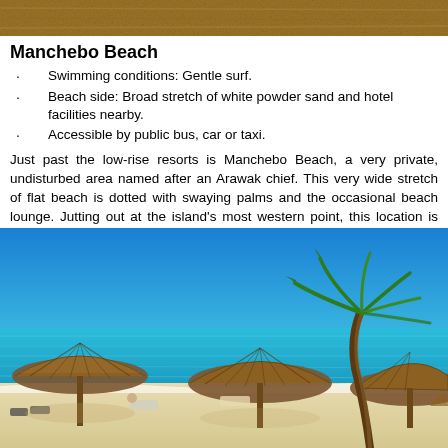[Figure (photo): Top banner photo of a sandy/earthy textured surface]
Manchebo Beach
Swimming conditions: Gentle surf.
Beach side: Broad stretch of white powder sand and hotel facilities nearby.
Accessible by public bus, car or taxi.
Just past the low-rise resorts is Manchebo Beach, a very private, undisturbed area named after an Arawak chief. This very wide stretch of flat beach is dotted with swaying palms and the occasional beach lounge. Jutting out at the island's most western point, this location is aptly named Punta Brabo for some angry surf resulting from converging currents.
[Figure (photo): Beach photo showing thatched palapa umbrellas on white sand beach with turquoise water and a palm tree bending in the wind under a bright blue sky.]